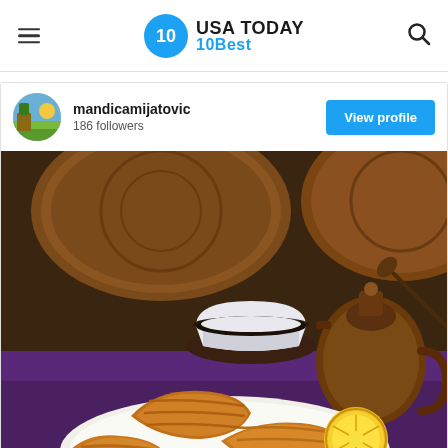USA TODAY 10Best
mandicamijatovic
186 followers
[Figure (photo): Instagram-style profile card showing user mandicamijatovic with 186 followers and a View profile button, above a food photo of golden-fried pastries (tulumbe or similar syrup-soaked fried dough) on a white plate with a lemon slice, alongside a traditional copper coffee set on a purple cloth background.]